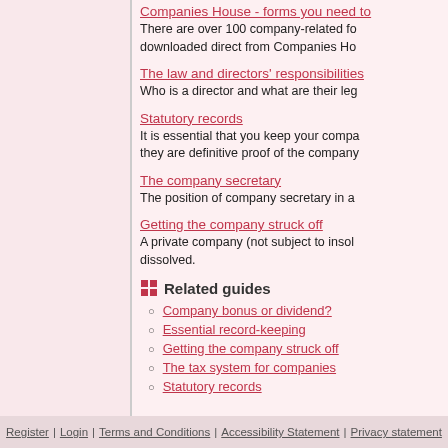Companies House - forms you need to
There are over 100 company-related fo downloaded direct from Companies Ho
The law and directors' responsibilities
Who is a director and what are their leg
Statutory records
It is essential that you keep your compa they are definitive proof of the company
The company secretary
The position of company secretary in a
Getting the company struck off
A private company (not subject to insol dissolved.
Related guides
Company bonus or dividend?
Essential record-keeping
Getting the company struck off
The tax system for companies
Statutory records
Register | Login | Terms and Conditions | Accessibility Statement | Privacy statement